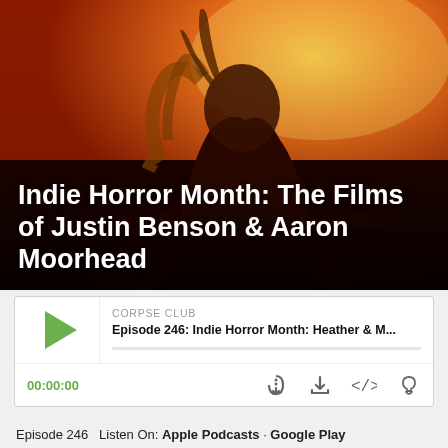[Figure (photo): Dark atmospheric horror movie promotional image showing a silhouetted figure with devil horns against a red-orange sunset sky. The image has dramatic warm tones of red, orange, and gold.]
Indie Horror Month: The Films of Justin Benson & Aaron Moorhead
[Figure (screenshot): Podcast player widget showing CORPSE CLUB podcast, Episode 246: Indie Horror Month: Heather & M... with play button, progress bar, time 00:00:00, and media control icons (RSS, download, embed, share).]
Episode 246  Listen On: Apple Podcasts · Google Play